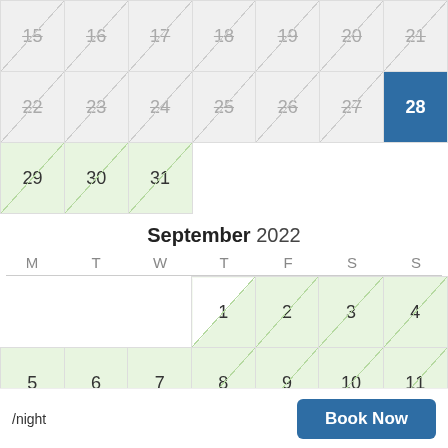[Figure (other): Calendar view showing end of August 2022 (dates 15-31, mostly crossed out/unavailable, with 28 highlighted in blue and 29-31 in green) and beginning of September 2022 (dates 1-11 shown, with 1-11 in light green available)]
/night
Book Now